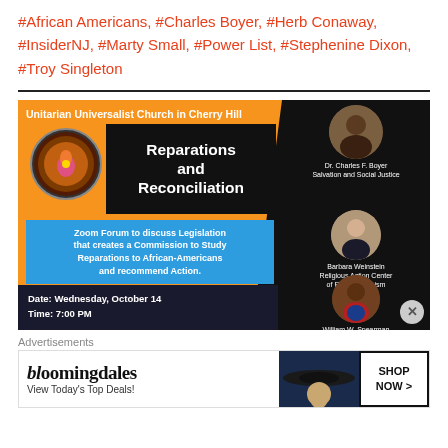#African Americans, #Charles Boyer, #Herb Conaway, #InsiderNJ, #Marty Small, #Power List, #Stephenine Dixon, #Troy Singleton
[Figure (infographic): Event flyer for 'Reparations and Reconciliation' Zoom Forum hosted at Unitarian Universalist Church in Cherry Hill. Features speakers Dr. Charles F. Boyer (Salvation and Social Justice), Barbara Weinstein (Religious Action Center of Reform Judaism), and William W. Spearman (Assemblyman). Date: Wednesday, October 14, Time: 7:00 PM.]
Advertisements
[Figure (other): Bloomingdale's advertisement: 'bloomingdales View Today's Top Deals! SHOP NOW >']